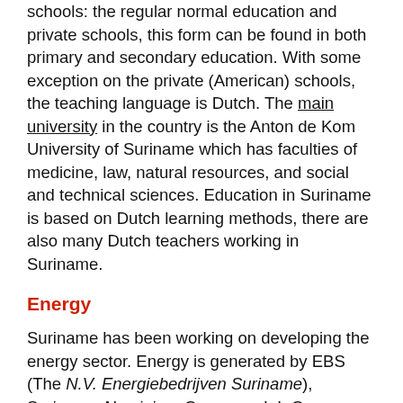schools: the regular normal education and private schools, this form can be found in both primary and secondary education. With some exception on the private (American) schools, the teaching language is Dutch. The main university in the country is the Anton de Kom University of Suriname which has faculties of medicine, law, natural resources, and social and technical sciences. Education in Suriname is based on Dutch learning methods, there are also many Dutch teachers working in Suriname.
Energy
Suriname has been working on developing the energy sector. Energy is generated by EBS (The N.V. Energiebedrijven Suriname), Suriname Aluminium Company, L.L.C. (Suralco), the Ministery of Natural Resources (remote areas) and Staatsolie Power Company Suriname (SPCS). The majority of Suriname's electricity is produced in the hydro-electric power plant, Afobaka. As a result, the country has a very low reliance on fossil fuels for the generation of electricity. The Afobaka hydropower plant, is operated by Staatsolie as of 1